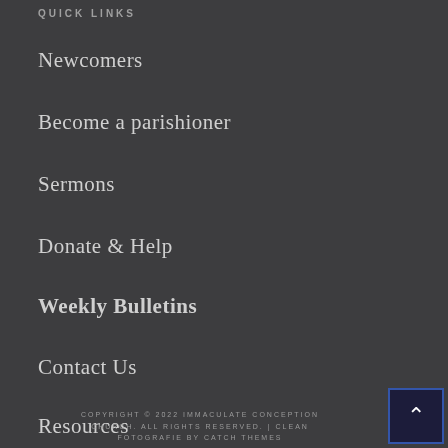QUICK LINKS
Newcomers
Become a parishioner
Sermons
Donate & Help
Weekly Bulletins
Contact Us
Resources
COPYRIGHT © 2022 IMMACULATE CONCEPTION CHURCH. ALL RIGHTS RESERVED. | CLEAN FOTOGRAFIE BY CATCH THEMES